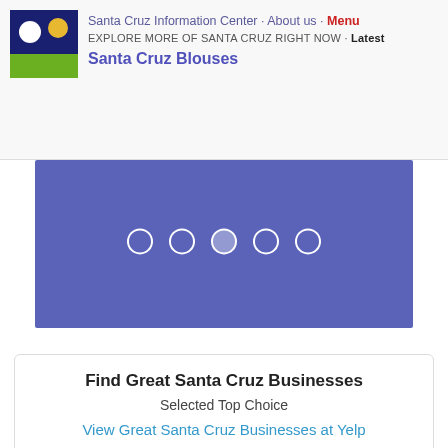Santa Cruz Information Center · About us · Menu
EXPLORE MORE OF SANTA CRUZ RIGHT NOW · Latest
Santa Cruz Blouses
[Figure (other): Slideshow/carousel banner with medium blue-purple background and five circular dot indicators (navigation dots) centered in the upper portion.]
Find Great Santa Cruz Businesses
Selected Top Choice
View Great Santa Cruz Businesses at Yelp